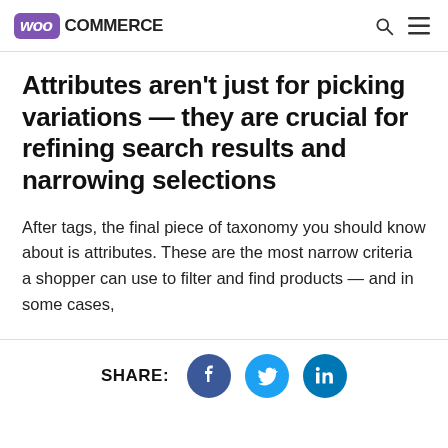WooCommerce
Attributes aren’t just for picking variations — they are crucial for refining search results and narrowing selections
After tags, the final piece of taxonomy you should know about is attributes. These are the most narrow criteria a shopper can use to filter and find products — and in some cases,
SHARE: